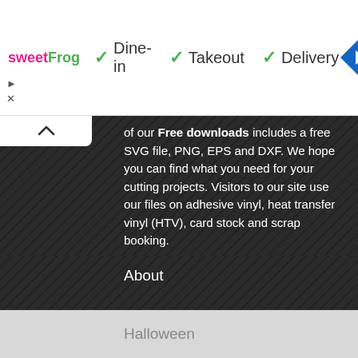[Figure (screenshot): Ad banner for sweetFrog with checkmarks for Dine-in, Takeout, Delivery and a blue navigation diamond icon]
of our Free downloads includes a free SVG file, PNG, EPS and DXF. We hope you can find what you need for your cutting projects. Visitors to our site use our files on adhesive vinyl, heat transfer vinyl (HTV), card stock and scrap booking.
About
Contact
Cookie Policy
Free SVG Files
Halloween